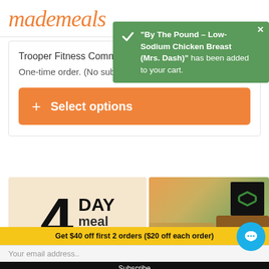mademeal
"By The Pound – Low-Sodium Chicken Breast (Mrs. Dash)" has been added to your cart.
Trooper Fitness Commu...
One-time order. (No subscription necessary)
+ Select options
[Figure (photo): 4 DAY meal plan promotional image with food containers showing chicken and vegetables]
Get $40 off first 2 orders ($20 off each order)
Your email address..
Subscribe